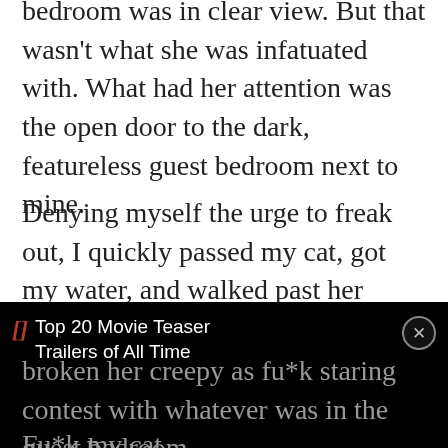bedroom was in clear view. But that wasn't what she was infatuated with. What had her attention was the open door to the dark, featureless guest bedroom next to mine.
Denying myself the urge to freak out, I quickly passed my cat, got my water, and walked past her again straight back to bed,
[Figure (screenshot): A black overlay advertisement banner with a red bracket icon, white text reading 'Top 20 Movie Teaser Trailers of All Time', a close circle button, a dark video area, and a 'Close X' button at bottom right.]
broken her creepy as fu*k staring contest with whatever was in the guest bedroom.
Fu*k my cat.